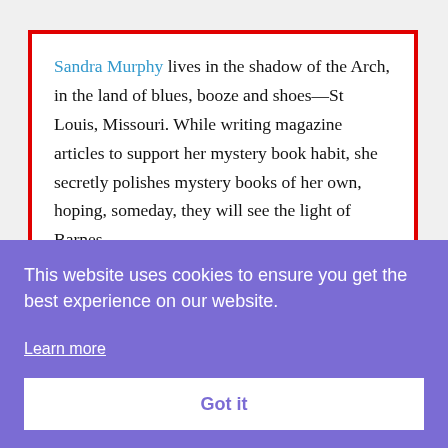Sandra Murphy lives in the shadow of the Arch, in the land of blues, booze and shoes—St Louis, Missouri. While writing magazine articles to support her mystery book habit, she secretly polishes mystery books of her own, hoping, someday, they will see the light of Barnes
This website uses cookies to ensure you get the best experience on our website. Learn more
Got it